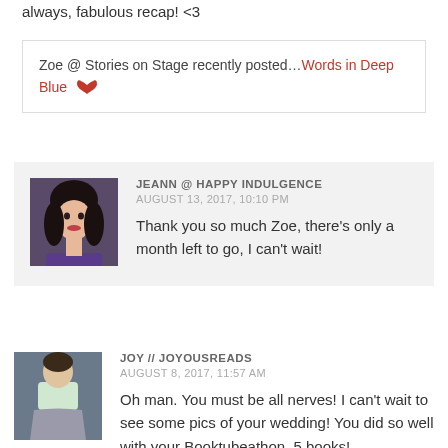always, fabulous recap! <3
Zoe @ Stories on Stage recently posted…Words in Deep Blue
JEANN @ HAPPY INDULGENCE
AUGUST 13, 2017, 10:10 PM
Thank you so much Zoe, there's only a month left to go, I can't wait!
JOY // JOYOUSREADS
AUGUST 8, 2017, 11:57 AM
Oh man. You must be all nerves! I can't wait to see some pics of your wedding! You did so well with your Booktubeathon. 5 books!